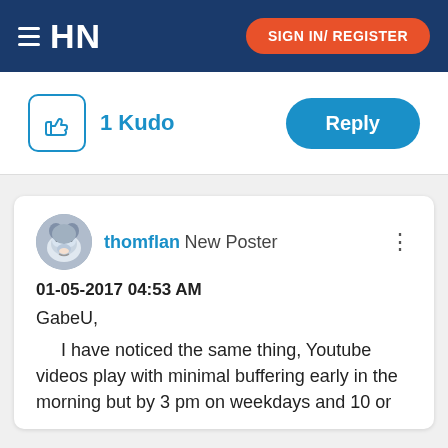HN   SIGN IN/ REGISTER
1 Kudo   Reply
thomflan New Poster
01-05-2017 04:53 AM
GabeU,
I have noticed the same thing, Youtube videos play with minimal buffering early in the morning but by 3 pm on weekdays and 10 or